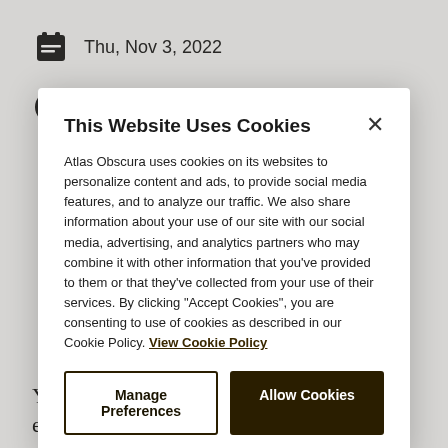Thu, Nov 3, 2022
3 sessions
$205 per person
This Website Uses Cookies
Atlas Obscura uses cookies on its websites to personalize content and ads, to provide social media features, and to analyze our traffic. We also share information about your use of our site with our social media, advertising, and analytics partners who may combine it with other information that you've provided to them or that they've collected from your use of their services. By clicking "Accept Cookies", you are consenting to use of cookies as described in our Cookie Policy. View Cookie Policy
Manage Preferences
Allow Cookies
You might not guess it, but you have an extensive